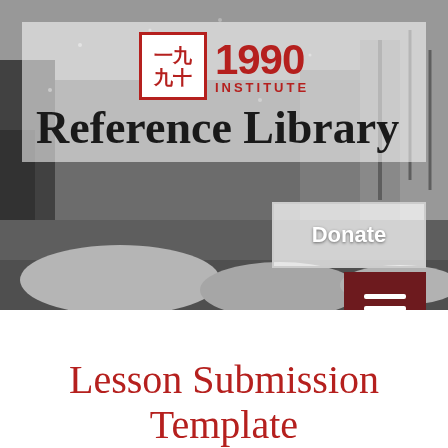[Figure (photo): Grayscale photograph of a snowy street scene used as hero background image for 1990 Institute Reference Library webpage]
1990 INSTITUTE — Reference Library
Reference Library
Donate
Lesson Submission Template